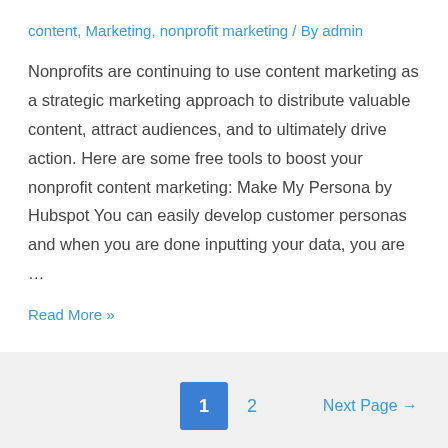content, Marketing, nonprofit marketing / By admin
Nonprofits are continuing to use content marketing as a strategic marketing approach to distribute valuable content, attract audiences, and to ultimately drive action. Here are some free tools to boost your nonprofit content marketing: Make My Persona by Hubspot You can easily develop customer personas and when you are done inputting your data, you are …
Read More »
1  2  Next Page →
[Figure (screenshot): Pagination bar with page 1 active (blue square), page 2 link, and Next Page arrow link on the right]
[Figure (screenshot): Search input box with magnifier icon, and social share icons (Facebook, Twitter, Share) overlapping on the left]
Recent Posts